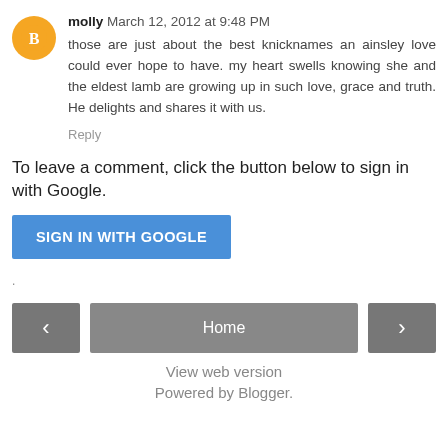molly March 12, 2012 at 9:48 PM — those are just about the best knicknames an ainsley love could ever hope to have. my heart swells knowing she and the eldest lamb are growing up in such love, grace and truth. He delights and shares it with us.
Reply
To leave a comment, click the button below to sign in with Google.
SIGN IN WITH GOOGLE
.
‹
Home
›
View web version
Powered by Blogger.